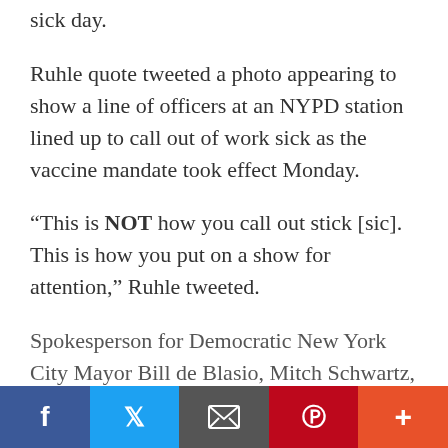sick day.
Ruhle quote tweeted a photo appearing to show a line of officers at an NYPD station lined up to call out of work sick as the vaccine mandate took effect Monday.
“This is NOT how you call out stick [sic]. This is how you put on a show for attention,” Ruhle tweeted.
Spokesperson for Democratic New York City Mayor Bill de Blasio, Mitch Schwartz, said “nine thousand people [were] placed on leave without pay today”